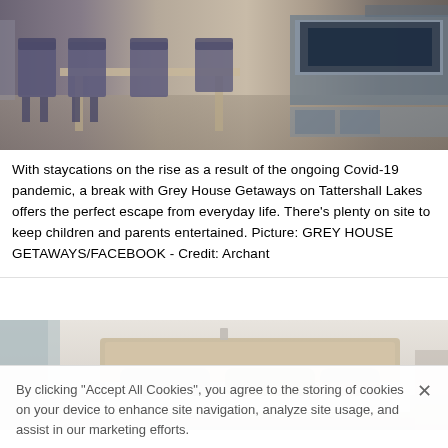[Figure (photo): Interior photo showing a dining area with blue-grey chairs around a wooden table, and a TV unit/entertainment center in the background]
With staycations on the rise as a result of the ongoing Covid-19 pandemic, a break with Grey House Getaways on Tattershall Lakes offers the perfect escape from everyday life. There's plenty on site to keep children and parents entertained. Picture: GREY HOUSE GETAWAYS/FACEBOOK - Credit: Archant
[Figure (photo): Interior bedroom photo showing a bed with grey pillows and headboard against a light wall]
By clicking "Accept All Cookies", you agree to the storing of cookies on your device to enhance site navigation, analyze site usage, and assist in our marketing efforts.